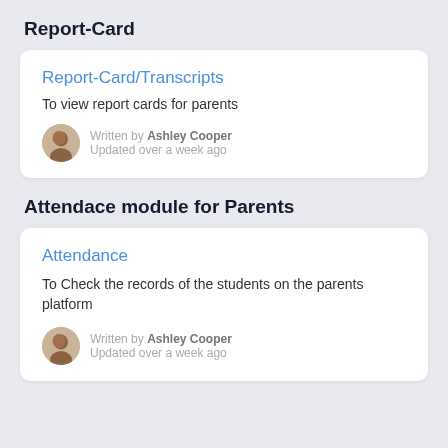Report-Card
Report-Card/Transcripts
To view report cards for parents
Written by Ashley Cooper
Updated over a week ago
Attendace module for Parents
Attendance
To Check the records of the students on the parents platform
Written by Ashley Cooper
Updated over a week ago